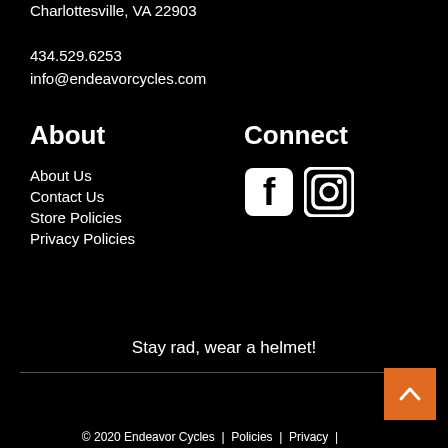Charlottesville, VA 22903
434.529.6253
info@endeavorcycles.com
About
Connect
About Us
Contact Us
Store Policies
Privacy Policies
[Figure (logo): Facebook and Instagram social media icons]
Stay rad, wear a helmet!
© 2020 Endeavor Cycles | Policies | Privacy |